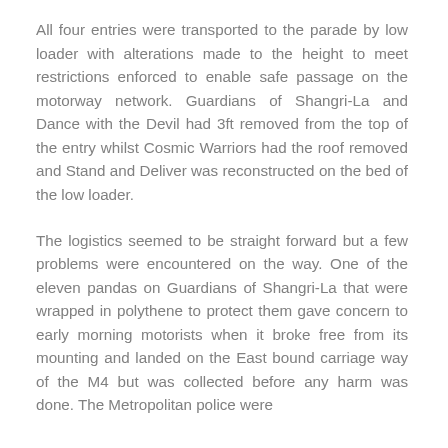All four entries were transported to the parade by low loader with alterations made to the height to meet restrictions enforced to enable safe passage on the motorway network. Guardians of Shangri-La and Dance with the Devil had 3ft removed from the top of the entry whilst Cosmic Warriors had the roof removed and Stand and Deliver was reconstructed on the bed of the low loader.
The logistics seemed to be straight forward but a few problems were encountered on the way. One of the eleven pandas on Guardians of Shangri-La that were wrapped in polythene to protect them gave concern to early morning motorists when it broke free from its mounting and landed on the East bound carriage way of the M4 but was collected before any harm was done. The Metropolitan police were